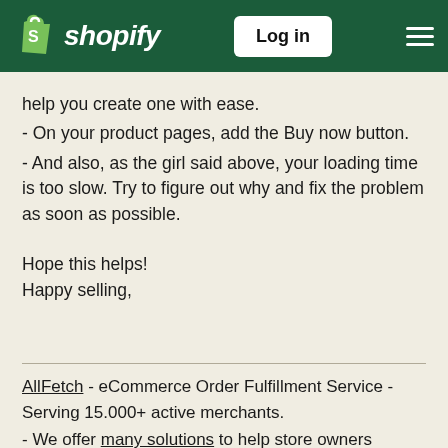Shopify — Log in
help you create one with ease.
- On your product pages, add the Buy now button.
- And also, as the girl said above, your loading time is too slow. Try to figure out why and fix the problem as soon as possible.
Hope this helps!
Happy selling,
AllFetch - eCommerce Order Fulfillment Service - Serving 15.000+ active merchants.
- We offer many solutions to help store owners